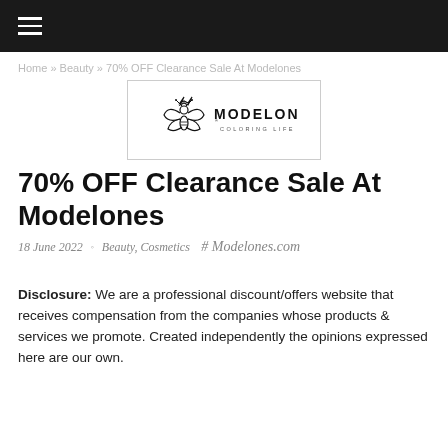≡ (hamburger menu)
Home » Beauty » 70% OFF Clearance Sale At Modelones
[Figure (logo): Modelones logo — stylized bee/moth icon with crown, text MODELONES® COLORING LIFE]
70% OFF Clearance Sale At Modelones
18 June 2022  •  Beauty, Cosmetics  # Modelones.com
Disclosure: We are a professional discount/offers website that receives compensation from the companies whose products & services we promote. Created independently the opinions expressed here are our own.